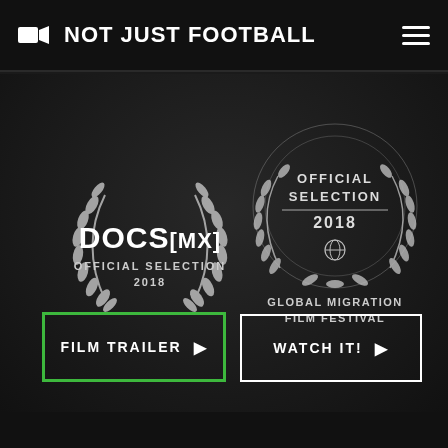🎥 NOT JUST FOOTBALL
[Figure (logo): DOCS[MX] Official Selection 2018 laurel wreath badge]
[Figure (logo): Official Selection 2018 Global Migration Film Festival laurel wreath badge]
FILM TRAILER ▶
WATCH IT! ▶